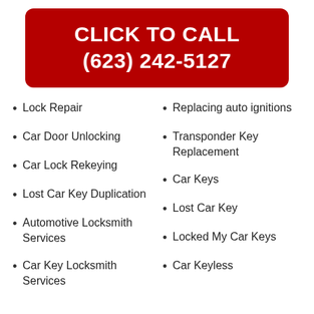[Figure (other): Red rounded rectangle banner with white bold text: CLICK TO CALL (623) 242-5127]
Lock Repair
Replacing auto ignitions
Car Door Unlocking
Transponder Key Replacement
Car Lock Rekeying
Car Keys
Lost Car Key Duplication
Lost Car Key
Automotive Locksmith Services
Locked My Car Keys
Car Key Locksmith Services
Car Keyless